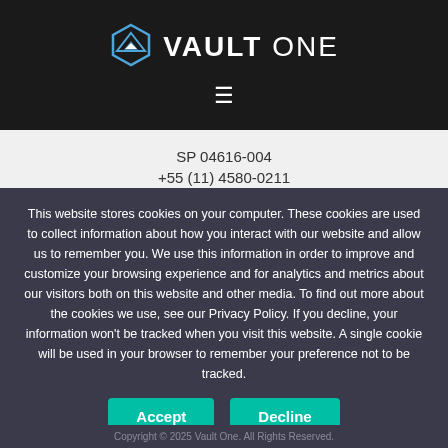[Figure (logo): Vault One logo with geometric diamond/triangle icon in blue and white, text 'VAULT ONE' in white]
SP 04616-004
+55 (11) 4580-0211
Curitiba, Brazil
Rua Dr. Manoel Pedro, 365
PR 83035-030
+55 (41) 4580-0211
This website stores cookies on your computer. These cookies are used to collect information about how you interact with our website and allow us to remember you. We use this information in order to improve and customize your browsing experience and for analytics and metrics about our visitors both on this website and other media. To find out more about the cookies we use, see our Privacy Policy. If you decline, your information won't be tracked when you visit this website. A single cookie will be used in your browser to remember your preference not to be tracked.
Accept | Decline
Copyright © 2025 Vault One. All Rights Reserved.